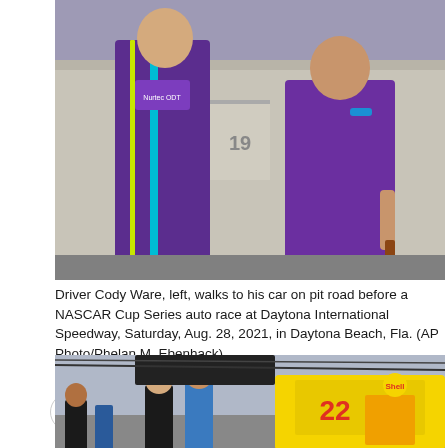[Figure (photo): Driver Cody Ware in purple racing suit walking on pit road with a man in purple polo shirt at Daytona International Speedway]
Driver Cody Ware, left, walks to his car on pit road before a NASCAR Cup Series auto race at Daytona International Speedway, Saturday, Aug. 28, 2021, in Daytona Beach, Fla. (AP Photo/Phelan M. Ebenhack)
Aug. 31, 2021 09:48 PM EDT
[Figure (photo): NASCAR drivers and crew members near pit road with car number 22 in yellow visible at Daytona International Speedway]